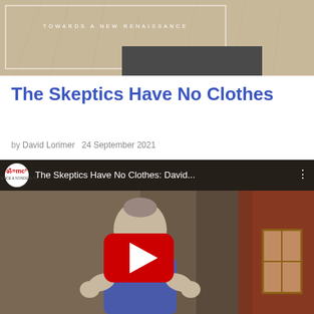TOWARDS A NEW RENAISSANCE
The Skeptics Have No Clothes
by David Lorimer   24 September 2021
[Figure (screenshot): YouTube video thumbnail showing a man in a patterned shirt with the title 'The Skeptics Have No Clothes: David...' and a red YouTube play button overlay. The video is from the Science & Nonduality (OM=mc2) channel.]